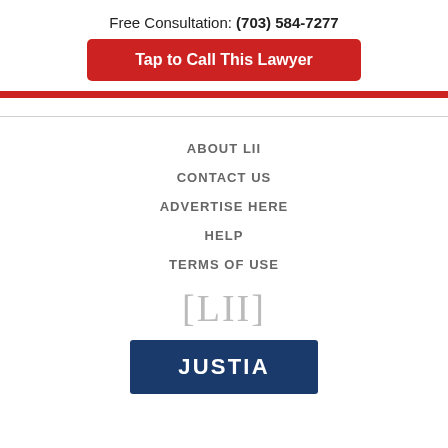Free Consultation: (703) 584-7277
Tap to Call This Lawyer
ABOUT LII
CONTACT US
ADVERTISE HERE
HELP
TERMS OF USE
[Figure (logo): LII logo with square brackets [LII]]
[Figure (logo): JUSTIA logo on dark blue background]